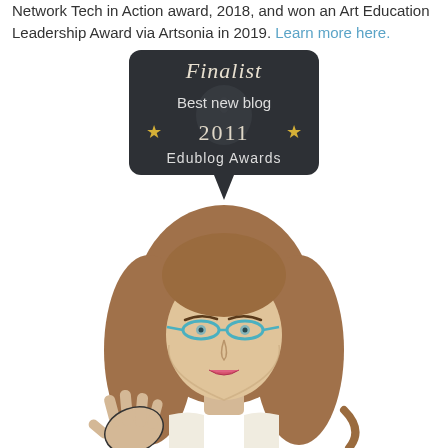Network Tech in Action award, 2018, and won an Art Education Leadership Award via Artsonia in 2019. Learn more here.
[Figure (illustration): Speech bubble badge on dark slate background reading: Finalist, Best new blog, 2011, Edublog Awards, with star decorations]
[Figure (illustration): Cartoon illustration of a woman with brown hair, glasses with light blue frames, and expressive hand gesture, shown from shoulders up]